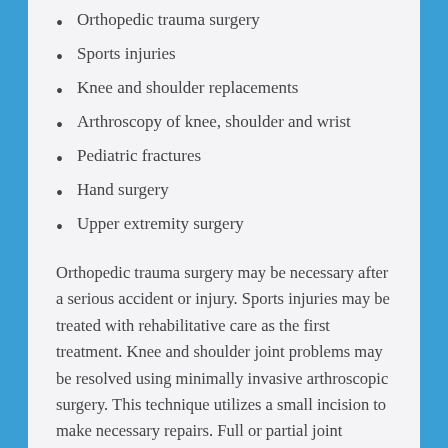Orthopedic trauma surgery
Sports injuries
Knee and shoulder replacements
Arthroscopy of knee, shoulder and wrist
Pediatric fractures
Hand surgery
Upper extremity surgery
Orthopedic trauma surgery may be necessary after a serious accident or injury. Sports injuries may be treated with rehabilitative care as the first treatment. Knee and shoulder joint problems may be resolved using minimally invasive arthroscopic surgery. This technique utilizes a small incision to make necessary repairs. Full or partial joint replacements may be needed when the joint is no longer able to be repaired.